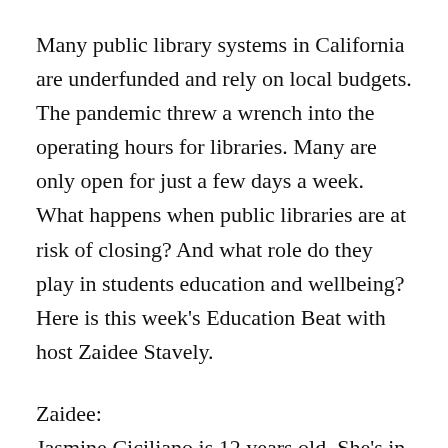Many public library systems in California are underfunded and rely on local budgets. The pandemic threw a wrench into the operating hours for libraries. Many are only open for just a few days a week. What happens when public libraries are at risk of closing? And what role do they play in students education and wellbeing? Here is this week's Education Beat with host Zaidee Stavely.
Zaidee:
Jasmine Ciciliano is 12 years old. She's in sixth grade. She lives in McFarland in the Central Valley. It's a small town of about 14,000 people north of Bakersfield. It's largely agricultural with crops like cotton, sugar, beets, grapes, and potatoes.